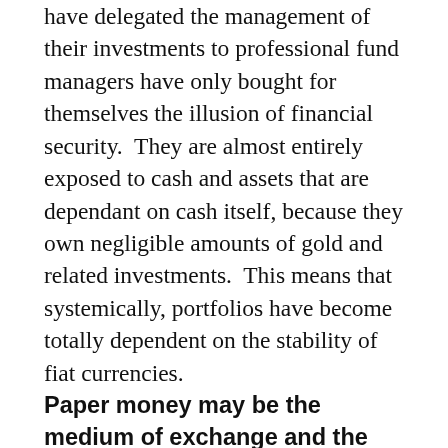have delegated the management of their investments to professional fund managers have only bought for themselves the illusion of financial security.  They are almost entirely exposed to cash and assets that are dependant on cash itself, because they own negligible amounts of gold and related investments.  This means that systemically, portfolios have become totally dependent on the stability of fiat currencies.
Paper money may be the medium of exchange and the unit of account, but in these increasingly uncertain times gold and silver are the safest stores of value and will continue to be hoarded, irrespective of price, for as long as